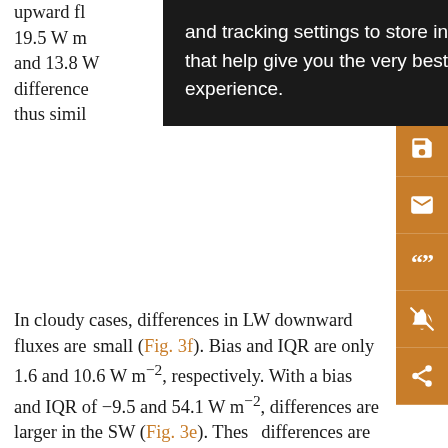upward fl… 3.8 and 19.5 W m… nd 2.4 and 13.8 W… The differences… s are thus simil…
In cloudy cases, differences in LW downward fluxes are small (Fig. 3f). Bias and IQR are only 1.6 and 10.6 W m⁻², respectively. With a bias and IQR of −9.5 and 54.1 W m⁻², differences are larger in the SW (Fig. 3e). These differences are a combined result of 3D effects that are not taken into account by the 1D radiative transfer simulations, a misclassification of the scene (cloudy/cloud-free, cloud type), uncertainties in the assumed direct and diffuse albedo and uncertainties in the cloud microphysical properties themselves. Shupe et al. (2015) found smaller differences in the SW surface